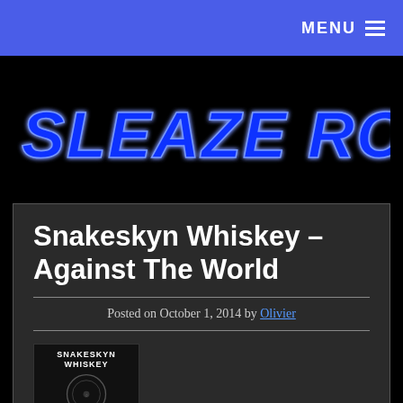MENU ≡
[Figure (logo): Sleaze Roxx neon-style logo in blue on black background]
Snakeskyn Whiskey – Against The World
Posted on October 1, 2014 by Olivier
[Figure (photo): Snakeskyn Whiskey album artwork - dark background with band name text and circular graphic]